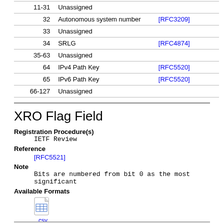| Value | Description | Reference |
| --- | --- | --- |
| 11-31 | Unassigned |  |
| 32 | Autonomous system number | [RFC3209] |
| 33 | Unassigned |  |
| 34 | SRLG | [RFC4874] |
| 35-63 | Unassigned |  |
| 64 | IPv4 Path Key | [RFC5520] |
| 65 | IPv6 Path Key | [RFC5520] |
| 66-127 | Unassigned |  |
XRO Flag Field
Registration Procedure(s)
IETF Review
Reference
[RFC5521]
Note
Bits are numbered from bit 0 as the most significant
Available Formats
[Figure (other): CSV download icon with label 'csv']